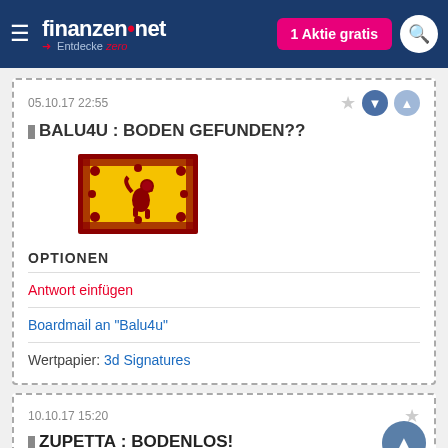finanzen.net — Entdecke zero | 1 Aktie gratis
05.10.17 22:55
BALU4U : BODEN GEFUNDEN??
[Figure (illustration): Scotland Royal Standard flag — yellow background with red lion rampant and decorative border]
OPTIONEN
Antwort einfügen
Boardmail an "Balu4u"
Wertpapier: 3d Signatures
10.10.17 15:20
ZUPETTA : BODENLOS!